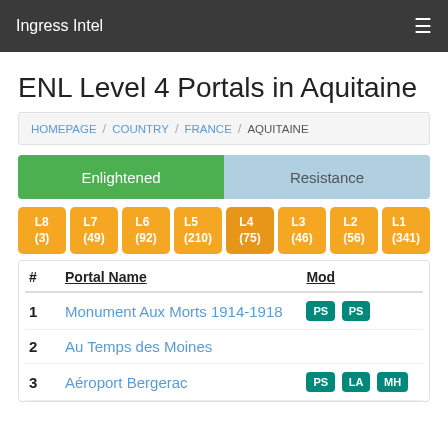Ingress Intel
ENL Level 4 Portals in Aquitaine
HOMEPAGE / COUNTRY / FRANCE / AQUITAINE
Enlightened | Resistance
L8 (3) | L7 (49) | L6 (92) | L5 (210) | L4 (75) | L3 (46) | L2 (56) | L1 (341)
| # | Portal Name | Mod |
| --- | --- | --- |
| 1 | Monument Aux Morts 1914-1918 | PS PS |
| 2 | Au Temps des Moines |  |
| 3 | Aéroport Bergerac | PS LA MH |